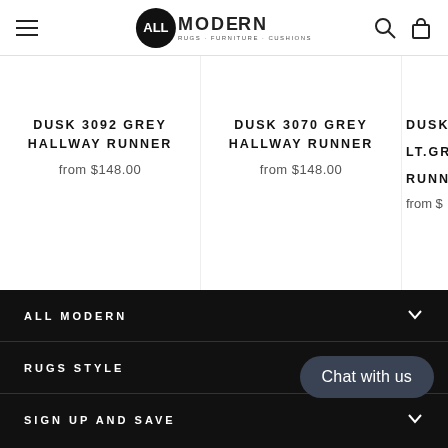ALL MODERN - RUGS · FURNITURE · CUSHIONS
DUSK 3092 GREY HALLWAY RUNNER
from $148.00
DUSK 3070 GREY HALLWAY RUNNER
from $148.00
DUSK LT.GREY H RUNNER
from $
ALL MODERN
RUGS STYLE
SIGN UP AND SAVE
Chat with us